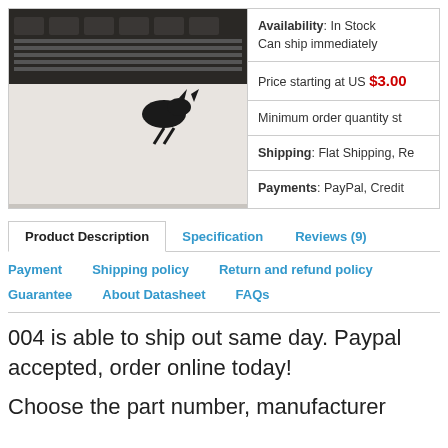[Figure (photo): Photo of electronic IC chips/components on a white surface]
Availability: In Stock
Can ship immediately
Price starting at US $3.00
Minimum order quantity st
Shipping: Flat Shipping, Re
Payments: PayPal, Credit
Product Description | Specification | Reviews (9)
Payment   Shipping policy   Return and refund policy
Guarantee   About Datasheet   FAQs
004 is able to ship out same day. Paypal accepted, order online today!
Choose the part number, manufacturer